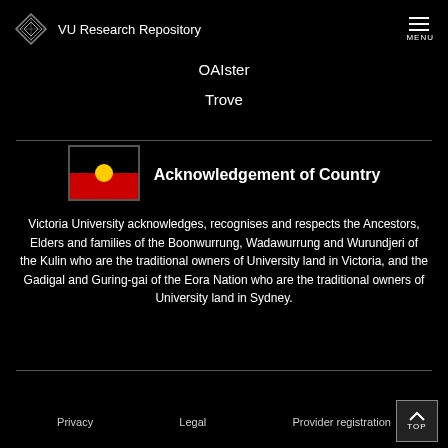VU Research Repository
OAIster
Trove
[Figure (illustration): Aboriginal flag: black top half, red bottom half, yellow circle in center]
Acknowledgement of Country
Victoria University acknowledges, recognises and respects the Ancestors, Elders and families of the Boonwurrung, Wadawurrung and Wurundjeri of the Kulin who are the traditional owners of University land in Victoria, and the Gadigal and Guring-gai of the Eora Nation who are the traditional owners of University land in Sydney.
Privacy   Legal   Provider registration